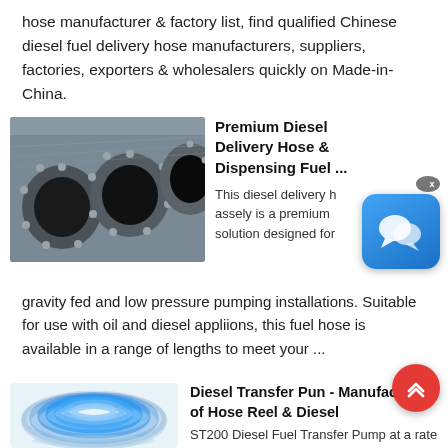hose manufacturer & factory list, find qualified Chinese diesel fuel delivery hose manufacturers, suppliers, factories, exporters & wholesalers quickly on Made-in-China.
[Figure (photo): Photo of large industrial hose ends with metal flanges, showing three circular openings]
Premium Diesel Delivery Hose & Dispensing Fuel ...
This diesel delivery hose assely is a premium solution designed for gravity fed and low pressure pumping installations. Suitable for use with oil and diesel appliions, this fuel hose is available in a range of lengths to meet your ...
[Figure (photo): Photo of a coiled blue hose reel]
Diesel Transfer Pun - Manufacturer of Hose Reel & Diesel
ST200 Diesel Fuel Transfer Pump at a rate of up to